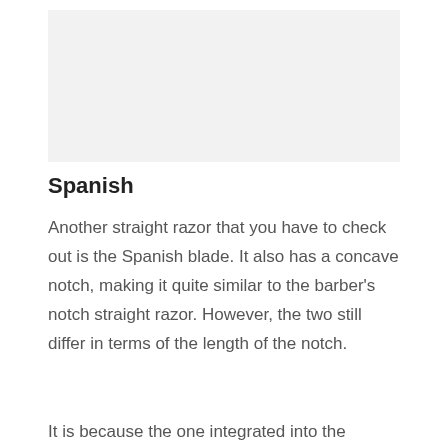[Figure (photo): Image placeholder — appears to be a photo or illustration related to a Spanish straight razor blade]
Spanish
Another straight razor that you have to check out is the Spanish blade. It also has a concave notch, making it quite similar to the barber's notch straight razor. However, the two still differ in terms of the length of the notch.
It is because the one integrated into the